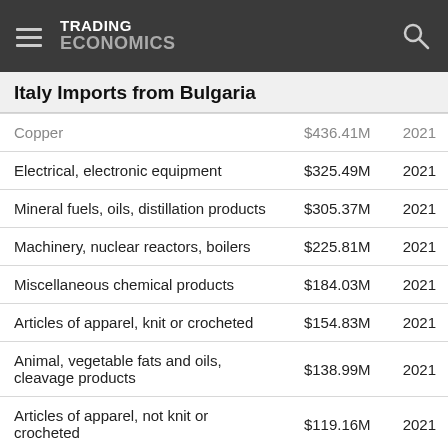TRADING ECONOMICS
Italy Imports from Bulgaria
| Product | Value | Year |
| --- | --- | --- |
| Copper | $436.41M | 2021 |
| Electrical, electronic equipment | $325.49M | 2021 |
| Mineral fuels, oils, distillation products | $305.37M | 2021 |
| Machinery, nuclear reactors, boilers | $225.81M | 2021 |
| Miscellaneous chemical products | $184.03M | 2021 |
| Articles of apparel, knit or crocheted | $154.83M | 2021 |
| Animal, vegetable fats and oils, cleavage products | $138.99M | 2021 |
| Articles of apparel, not knit or crocheted | $119.16M | 2021 |
| Footwear, gaiters and the like, | $102.20M | 2021 |